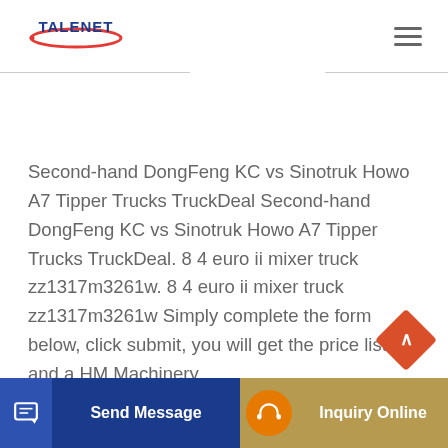[Figure (logo): Talenet logo with red ellipse and blue text]
Second-hand DongFeng KC vs Sinotruk Howo A7 Tipper Trucks TruckDeal Second-hand DongFeng KC vs Sinotruk Howo A7 Tipper Trucks TruckDeal. 8 4 euro ii mixer truck zz1317m3261w. 8 4 euro ii mixer truck zz1317m3261w Simply complete the form below, click submit, you will get the price list and a HM Machinery conta
[Figure (screenshot): Send Message button (blue) and Inquiry Online button (gold/tan) at the bottom of the page, with back-to-top diamond button (red/orange)]